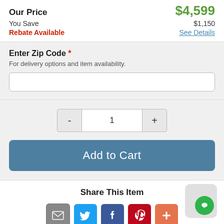Our Price  $4,599
You Save  $1,150
Rebate Available  See Details
Enter Zip Code *
For delivery options and item availability.
1
Add to Cart
Share This Item
[Figure (infographic): Social share icons: email, Twitter, Facebook, Pinterest, More]